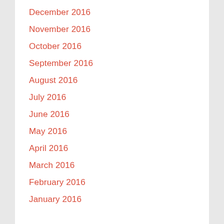December 2016
November 2016
October 2016
September 2016
August 2016
July 2016
June 2016
May 2016
April 2016
March 2016
February 2016
January 2016